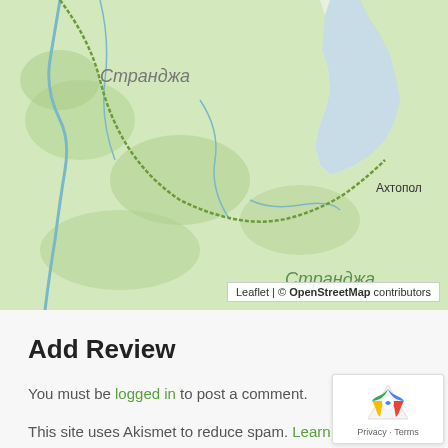[Figure (map): OpenStreetMap showing the Strandja (Странджа) region in Bulgaria with the Black Sea coast, showing place names Царево, Ахтопол, and Странджа in Cyrillic script. Green forested terrain with rivers and coastline visible.]
Add Review
You must be logged in to post a comment.
This site uses Akismet to reduce spam. Learn how your comment data is processed.